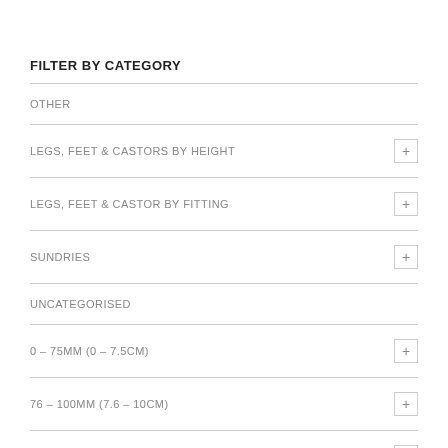FILTER BY CATEGORY
OTHER
LEGS, FEET & CASTORS BY HEIGHT
LEGS, FEET & CASTOR BY FITTING
SUNDRIES
UNCATEGORISED
0 – 75MM (0 – 7.5CM)
76 – 100MM (7.6 – 10CM)
101 – 125MM (10.1 – 12.5CM)
126 – 149MM (12.6 – 14CM)